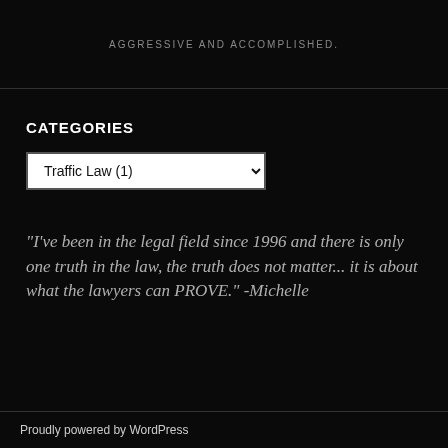AGGRESSIVE AND ACCOMPLISHED.
CATEGORIES
Traffic Law  (1)
"I've been in the legal field since 1996 and there is only one truth in the law, the truth does not matter... it is about what the lawyers can PROVE." -Michelle
Proudly powered by WordPress